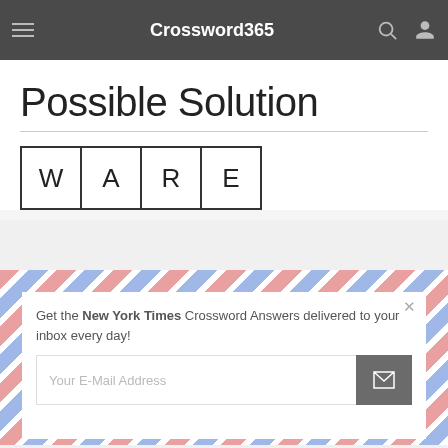Crossword365
Possible Solution
[Figure (other): Four letter boxes spelling WARE]
Get the New York Times Crossword Answers delivered to your inbox every day!
Your E-Mail Address